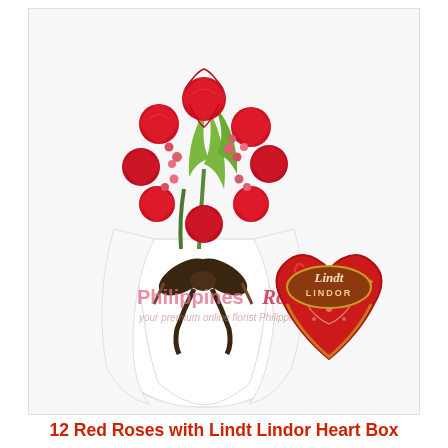[Figure (photo): A bouquet of 12 red roses wrapped in white paper with a dark brown ribbon bow, accompanied by a red heart-shaped Lindt Lindor chocolate gift tin. The bouquet has green lily buds and pink hypericum berries among the roses. A watermark reads 'PhilippinesRose.com — your premium online florist Philippines'.]
12 Red Roses with Lindt Lindor Heart Box